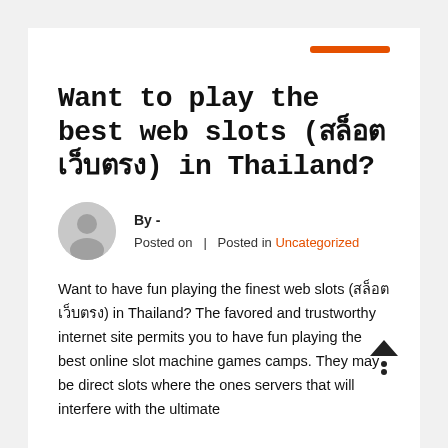Want to play the best web slots (สล็อตเว็บตรง) in Thailand?
By -
Posted on  |  Posted in Uncategorized
Want to have fun playing the finest web slots (สล็อตเว็บตรง) in Thailand? The favored and trustworthy internet site permits you to have fun playing the best online slot machine games camps. They may be direct slots where the ones servers that will interfere with the ultimate...